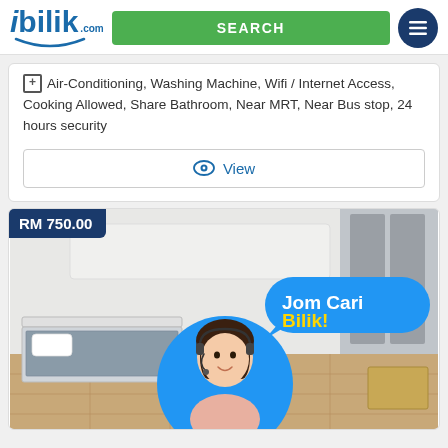ibiblik.com | SEARCH | menu
Air-Conditioning, Washing Machine, Wifi / Internet Access, Cooking Allowed, Share Bathroom, Near MRT, Near Bus stop, 24 hours security
View
[Figure (photo): Listing photo showing a room with bed and a promotional banner 'Jom Cari Bilik!' with a woman wearing a headset, price badge RM 750.00]